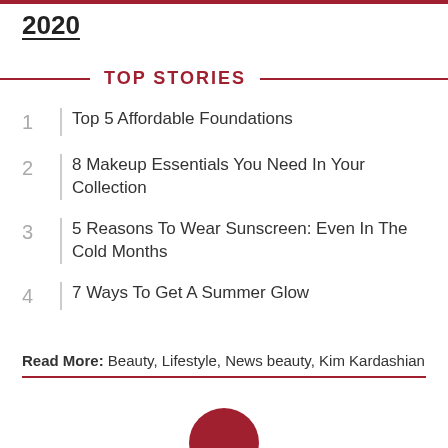2020
TOP STORIES
Top 5 Affordable Foundations
8 Makeup Essentials You Need In Your Collection
5 Reasons To Wear Sunscreen: Even In The Cold Months
7 Ways To Get A Summer Glow
Read More: Beauty, Lifestyle, News beauty, Kim Kardashian